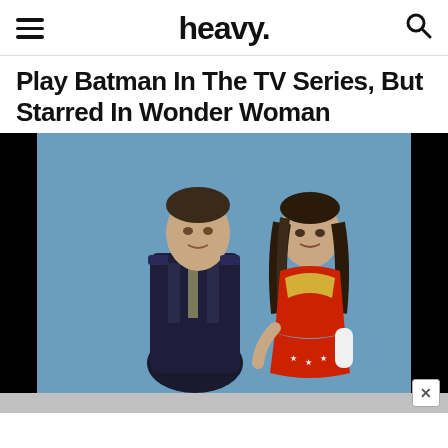heavy.
Play Batman In The TV Series, But Starred In Wonder Woman
[Figure (photo): A man in a military uniform standing next to a woman dressed as Wonder Woman (red and gold costume, tiara with star), posed against a light blue background.]